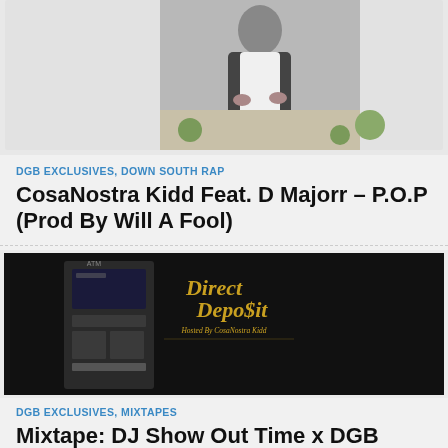[Figure (photo): Photo of a man in a dark jacket and white shirt, standing outdoors, partially cropped at the top]
DGB EXCLUSIVES, DOWN SOUTH RAP
CosaNostra Kidd Feat. D Majorr – P.O.P (Prod By Will A Fool)
[Figure (photo): Direct Deposit mixtape cover art — dark background with an ATM machine on the left and gold stylized text reading 'Direct Deposit Hosted By CosaNostra Kidd' on the right]
DGB EXCLUSIVES, MIXTAPES
Mixtape: DJ Show Out Time x DGB Presents Direct Deposit (Hosted By CosaNostra Kidd)